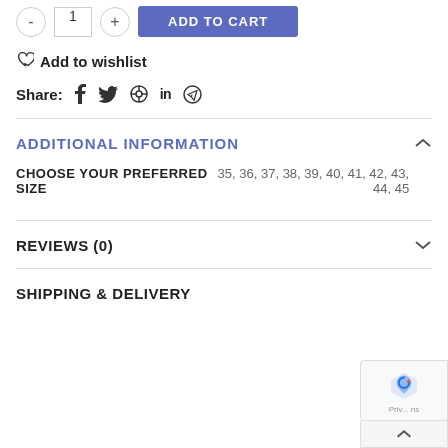- 1 + ADD TO CART
♡ Add to wishlist
Share: f  (twitter) (pinterest) in (telegram)
ADDITIONAL INFORMATION
CHOOSE YOUR PREFERRED SIZE   35, 36, 37, 38, 39, 40, 41, 42, 43, 44, 45
REVIEWS (0)
SHIPPING & DELIVERY